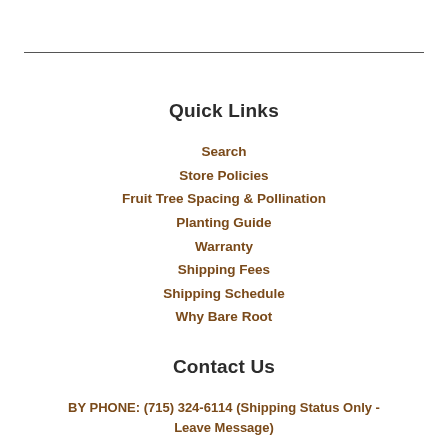Quick Links
Search
Store Policies
Fruit Tree Spacing & Pollination
Planting Guide
Warranty
Shipping Fees
Shipping Schedule
Why Bare Root
Contact Us
BY PHONE: (715) 324-6114 (Shipping Status Only - Leave Message)